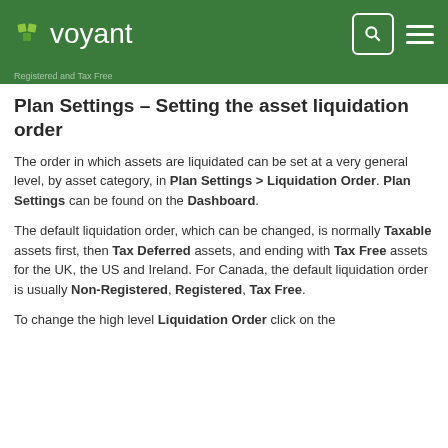voyant
Registered and Tax Free
Plan Settings – Setting the asset liquidation order
The order in which assets are liquidated can be set at a very general level, by asset category, in Plan Settings > Liquidation Order. Plan Settings can be found on the Dashboard.
The default liquidation order, which can be changed, is normally Taxable assets first, then Tax Deferred assets, and ending with Tax Free assets for the UK, the US and Ireland. For Canada, the default liquidation order is usually Non-Registered, Registered, Tax Free.
To change the high level Liquidation Order click on the